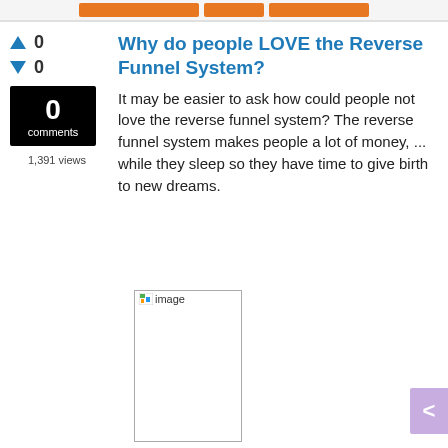[Figure (screenshot): Orange navigation buttons bar at top of page]
Why do people LOVE the Reverse Funnel System?
It may be easier to ask how could people not love the reverse funnel system? The reverse funnel system makes people a lot of money, ... while they sleep so they have time to give birth to new dreams.
[Figure (photo): Broken image placeholder labeled 'image']
[Figure (other): Purple navigation arrow button on right side]